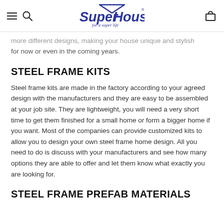SuperHouse for a super life
more different designs, making your house unique and stylish for now or even in the coming years.
STEEL FRAME KITS
Steel frame kits are made in the factory according to your agreed design with the manufacturers and they are easy to be assembled at your job site. They are lightweight, you will need a very short time to get them finished for a small home or form a bigger home if you want. Most of the companies can provide customized kits to allow you to design your own steel frame home design. All you need to do is discuss with your manufacturers and see how many options they are able to offer and let them know what exactly you are looking for.
STEEL FRAME PREFAB MATERIALS